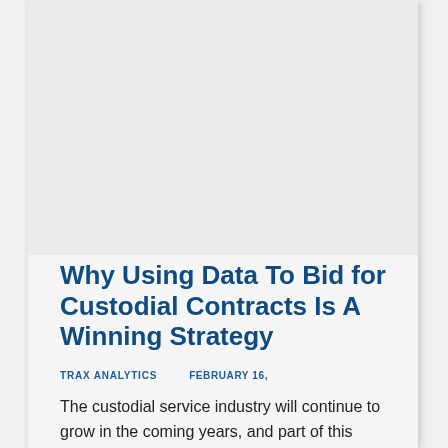Why Using Data To Bid for Custodial Contracts Is A Winning Strategy
TRAX ANALYTICS   FEBRUARY 16,
The custodial service industry will continue to grow in the coming years, and part of this growth includes